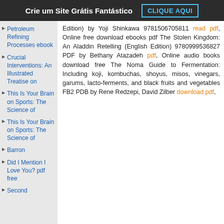Crie um Site Grátis Fantástico   CLIQUE AQUI
Petroleum Refining Processes ebook
Crucial Interventions: An Illustrated Treatise on
This Is Your Brain on Sports: The Science of
This Is Your Brain on Sports: The Science of
Barron
Did I Mention I Love You? pdf free
Second
Edition) by Yoji Shinkawa 9781506705811 read pdf, Online free download ebooks pdf The Stolen Kingdom: An Aladdin Retelling (English Edition) 9780999536827 PDF by Bethany Atazadeh pdf, Online audio books download free The Noma Guide to Fermentation: Including koji, kombuchas, shoyus, misos, vinegars, garums, lacto-ferments, and black fruits and vegetables FB2 PDB by Rene Redzepi, David Zilber download pdf,